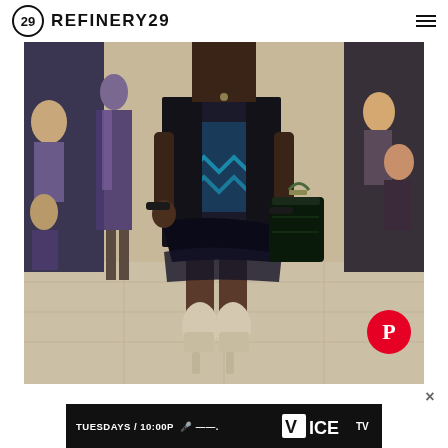REFINERY29
[Figure (photo): Fashion runway photo showing a model walking in dark blue/black layered outfit with zigzag pattern, carrying a dark structured handbag, wearing snake-print platform booties. Background shows audience and other models.]
[Figure (logo): Pinterest share button — red circle with white P icon, positioned bottom-right of the runway photo]
×
[Figure (screenshot): Advertisement banner: black background with white bold text 'TUESDAYS / 10:00P' with microphone icon, followed by VICE TV logo in white]